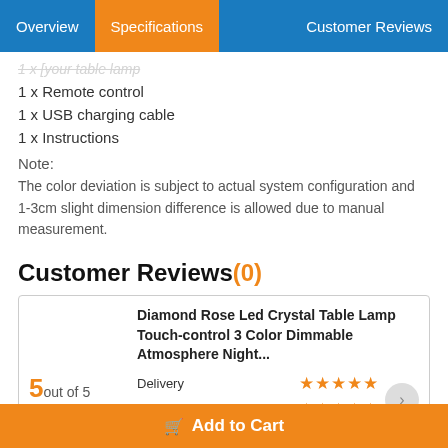Overview | Specifications | Customer Reviews
1 x Remote control
1 x USB charging cable
1 x Instructions
Note:
The color deviation is subject to actual system configuration and 1-3cm slight dimension difference is allowed due to manual measurement.
Customer Reviews(0)
Diamond Rose Led Crystal Table Lamp Touch-control 3 Color Dimmable Atmosphere Night...
5 out of 5
Delivery | Value for Money | Packaging — all 5 stars
Add to Cart